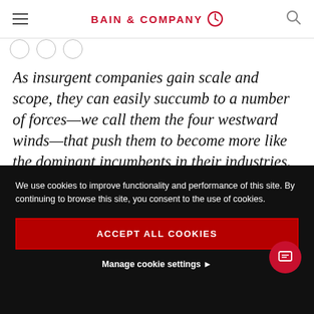BAIN & COMPANY
As insurgent companies gain scale and scope, they can easily succumb to a number of forces—we call them the four westward winds—that push them to become more like the dominant incumbents in their industries. The best companies maintain or
We use cookies to improve functionality and performance of this site. By continuing to browse this site, you consent to the use of cookies.
ACCEPT ALL COOKIES
Manage cookie settings ▶